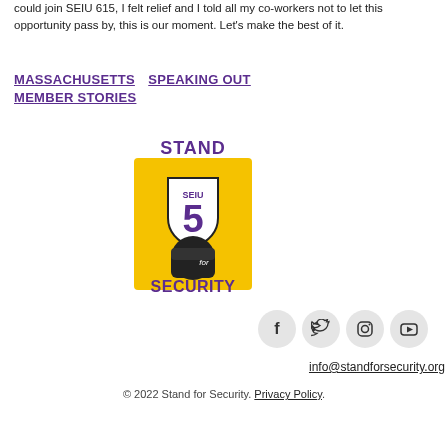could join SEIU 615, I felt relief and I told all my co-workers not to let this opportunity pass by, this is our moment. Let's make the best of it.
MASSACHUSETTS   SPEAKING OUT
MEMBER STORIES
[Figure (logo): Stand for Security SEIU 5 logo — yellow background with a fist holding a badge, purple text reading STAND and SECURITY, black text for and SEIU 5]
[Figure (other): Social media icons: Facebook, Twitter, Instagram, YouTube — circular grey buttons]
info@standforsecurity.org
© 2022 Stand for Security. Privacy Policy.